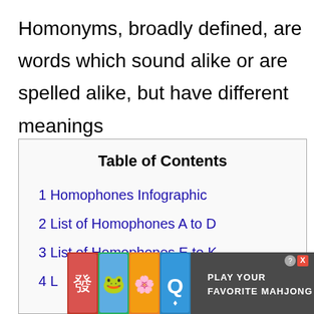Homonyms, broadly defined, are words which sound alike or are spelled alike, but have different meanings
Table of Contents
1 Homophones Infographic
2 List of Homophones A to D
3 List of Homophones E to K
4 L...
[Figure (screenshot): Advertisement overlay for Mahjong game showing colorful tiles and text 'Play Your Favorite Mahjong']